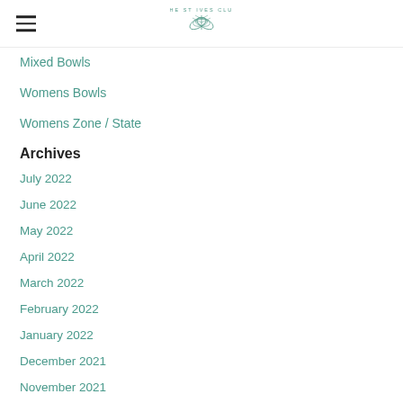THE ST IVES CLUB
Mixed Bowls
Womens Bowls
Womens Zone / State
Archives
July 2022
June 2022
May 2022
April 2022
March 2022
February 2022
January 2022
December 2021
November 2021
October 2021
June 2021
May 2021
April 2021